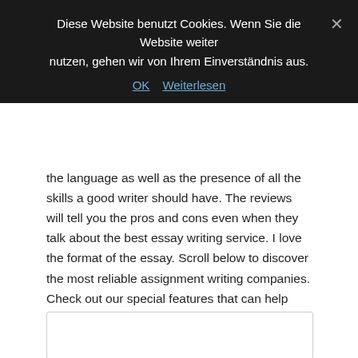Diese Website benutzt Cookies. Wenn Sie die Website weiter nutzen, gehen wir von Ihrem Einverständnis aus.
OK   Weiterlesen
the language as well as the presence of all the skills a good writer should have. The reviews will tell you the pros and cons even when they talk about the best essay writing service. I love the format of the essay. Scroll below to discover the most reliable assignment writing companies. Check out our special features that can help with that. „Having tried a few services in my first year at college, I can say that Custom writing has the best service that is also affordable. To be honest, you need dedicated people in your writing department to maintain constant high quality of their tasks and make them correspond to initial requirements every time.
[Figure (other): Empty white box/input area with border]